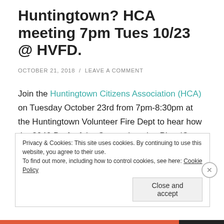Huntingtown? HCA meeting 7pm Tues 10/23 @ HVFD.
OCTOBER 21, 2018 / LEAVE A COMMENT
Join the Huntingtown Citizens Association (HCA) on Tuesday October 23rd from 7pm-8:30pm at the Huntingtown Volunteer Fire Dept to hear how the 2040 Draft of the Comprehensive Plan (Comp Plan) will affect Huntingtown residents.  We will bring the plan and local maps for an informal question and answer session. We've attended all the meetings, and will share what we
Privacy & Cookies: This site uses cookies. By continuing to use this website, you agree to their use.
To find out more, including how to control cookies, see here: Cookie Policy

Close and accept